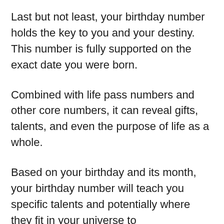Last but not least, your birthday number holds the key to you and your destiny. This number is fully supported on the exact date you were born.
Combined with life pass numbers and other core numbers, it can reveal gifts, talents, and even the purpose of life as a whole.
Based on your birthday and its month, your birthday number will teach you specific talents and potentially where they fit in your universe to